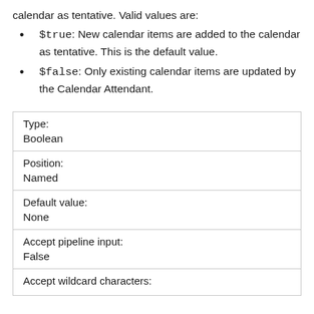calendar as tentative. Valid values are:
$true: New calendar items are added to the calendar as tentative. This is the default value.
$false: Only existing calendar items are updated by the Calendar Attendant.
| Type: | Boolean |
| Position: | Named |
| Default value: | None |
| Accept pipeline input: | False |
| Accept wildcard characters: |  |